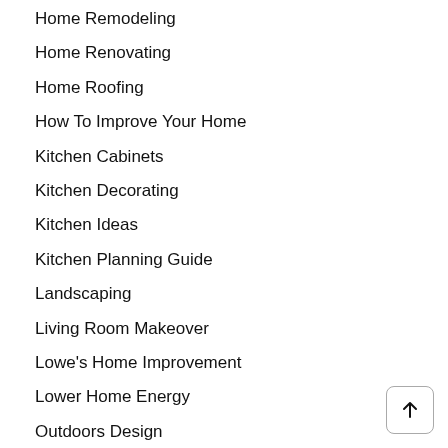Home Remodeling
Home Renovating
Home Roofing
How To Improve Your Home
Kitchen Cabinets
Kitchen Decorating
Kitchen Ideas
Kitchen Planning Guide
Landscaping
Living Room Makeover
Lowe's Home Improvement
Lower Home Energy
Outdoors Design